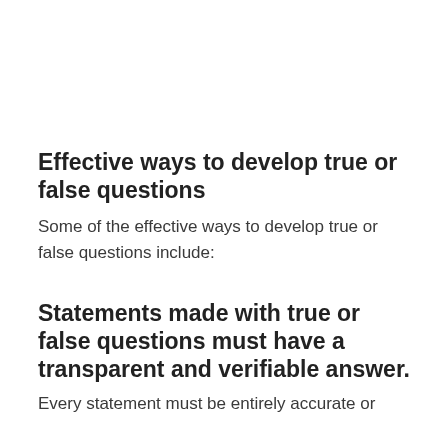Effective ways to develop true or false questions
Some of the effective ways to develop true or false questions include:
Statements made with true or false questions must have a transparent and verifiable answer.
Every statement must be entirely accurate or